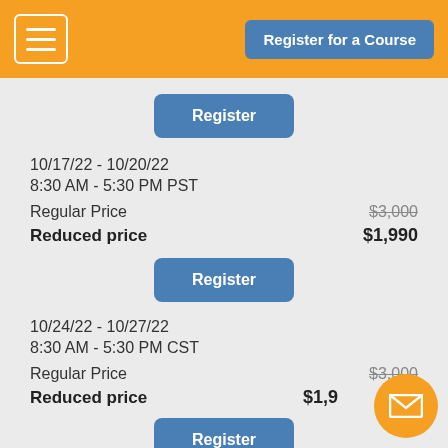Register for a Course
Register
10/17/22 - 10/20/22
8:30 AM - 5:30 PM PST
Regular Price   $3,000
Reduced price   $1,990
Register
10/24/22 - 10/27/22
8:30 AM - 5:30 PM CST
Regular Price   $3,000
Reduced price   $1,990
Register